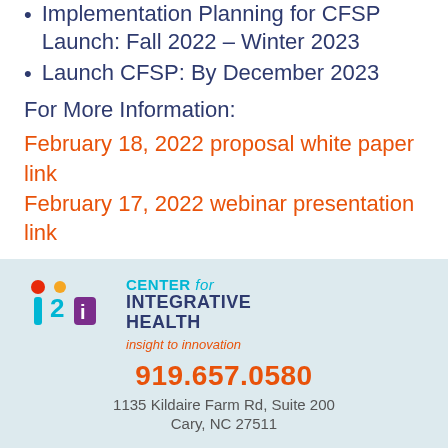Implementation Planning for CFSP Launch: Fall 2022 – Winter 2023
Launch CFSP: By December 2023
For More Information:
February 18, 2022 proposal white paper linkFebruary 17, 2022 webinar presentation link
[Figure (logo): i2i Center for Integrative Health logo with colorful i2i graphic and text]
919.657.0580
1135 Kildaire Farm Rd, Suite 200
Cary, NC 27511